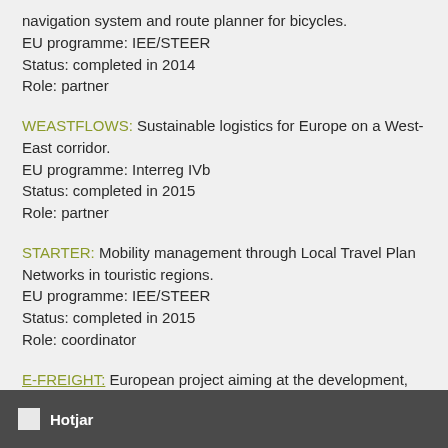navigation system and route planner for bicycles.
EU programme: IEE/STEER
Status: completed in 2014
Role: partner
WEASTFLOWS: Sustainable logistics for Europe on a West-East corridor.
EU programme: Interreg IVb
Status: completed in 2015
Role: partner
STARTER: Mobility management through Local Travel Plan Networks in touristic regions.
EU programme: IEE/STEER
Status: completed in 2015
Role: coordinator
E-FREIGHT: European project aiming at the development, demonstration and evaluation of e-freight services.
EU programme: FP7
Hotjar